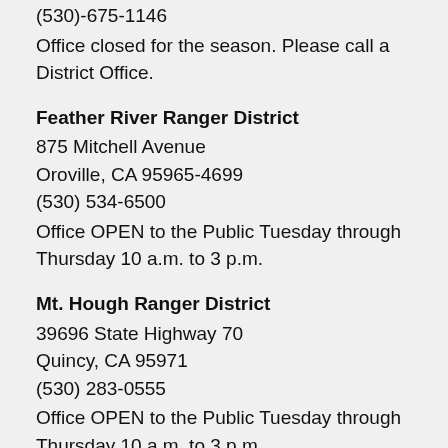(530)-675-1146
Office closed for the season. Please call a District Office.
Feather River Ranger District
875 Mitchell Avenue
Oroville, CA 95965-4699
(530) 534-6500
Office OPEN to the Public Tuesday through Thursday 10 a.m. to 3 p.m.
Mt. Hough Ranger District
39696 State Highway 70
Quincy, CA 95971
(530) 283-0555
Office OPEN to the Public Tuesday through Thursday 10 a.m. to 3 p.m.